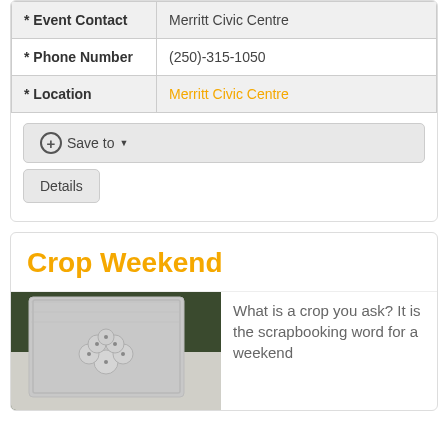| Field | Value |
| --- | --- |
| * Event Contact | Merritt Civic Centre |
| * Phone Number | (250)-315-1050 |
| * Location | Merritt Civic Centre |
Save to ▾
Details
Crop Weekend
[Figure (photo): Photo of an embossed grey card with a flower/grape cluster design, placed on a light surface outdoors]
What is a crop you ask? It is the scrapbooking word for a weekend